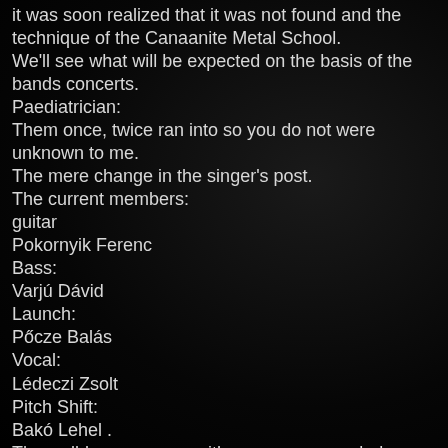it was soon realized that it was not found and the technique of the Canaanite Metal School.
We'll see what will be expected on the basis of the bands concerts.
Paediatrician:
Them once, twice ran into so you do not were unknown to me.
The mere change in the singer's post.
The current members:
guitar
Pokornyik Ferenc
Bass:
Varjú Dávid
Launch:
Pőcze Balás
Vocal:
Lédeczi Zsolt
Pitch Shift:
Bakó Lehel .
The well-known songs with new ones sounded.
The lyrics attack
of course, were the previous route.
Want to the grind, so as to kell A Dying fetus – Kill Your